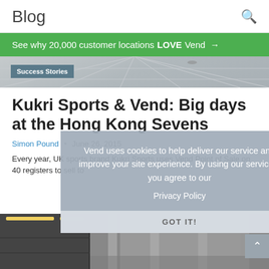Blog
See why 20,000 customer locations LOVE Vend →
[Figure (screenshot): Hero image strip showing interior of a retail or sports store, with perspective grid lines visible, partially visible.]
Success Stories
Kukri Sports & Vend: Big days at the Hong Kong Sevens
Simon Pound • June 26, 2015
Every year, UK sports brand Kukri Sports uses Vend Point of Sale on 40 registers to sell to
Vend uses cookies to help deliver our service and improve your site experience. By using our services, you agree to our Privacy Policy
GOT IT!
[Figure (photo): Bottom photo strip showing interior of a shop or sports venue with overhead lighting.]